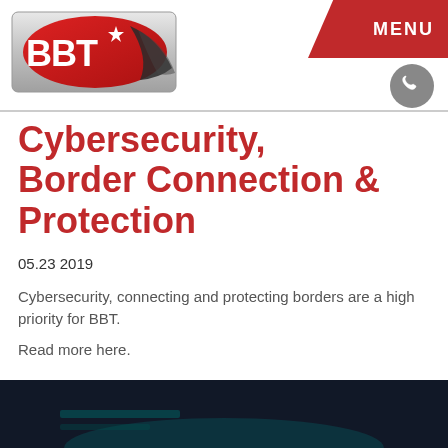[Figure (logo): BBT logo with red oval, star, and silver/black swoosh design]
MENU
Cybersecurity, Border Connection & Protection
05.23 2019
Cybersecurity, connecting and protecting borders are a high priority for BBT.
Read more here.
[Figure (photo): Dark photo showing a keyboard or electronic device with teal/blue screen glow]